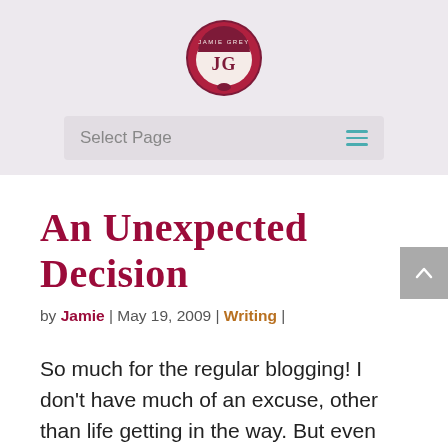[Figure (logo): Jamie Grey circular logo with initials JG in a badge/crest style, dark red and cream colors]
Select Page
An Unexpected Decision
by Jamie | May 19, 2009 | Writing |
So much for the regular blogging! I don't have much of an excuse, other than life getting in the way. But even with that, I've been keeping up my